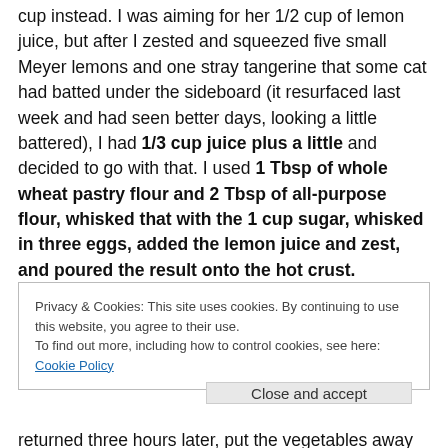cup instead. I was aiming for her 1/2 cup of lemon juice, but after I zested and squeezed five small Meyer lemons and one stray tangerine that some cat had batted under the sideboard (it resurfaced last week and had seen better days, looking a little battered), I had 1/3 cup juice plus a little and decided to go with that. I used 1 Tbsp of whole wheat pastry flour and 2 Tbsp of all-purpose flour, whisked that with the 1 cup sugar, whisked in three eggs, added the lemon juice and zest, and poured the result onto the hot crust.
Privacy & Cookies: This site uses cookies. By continuing to use this website, you agree to their use. To find out more, including how to control cookies, see here: Cookie Policy
Close and accept
returned three hours later, put the vegetables away and